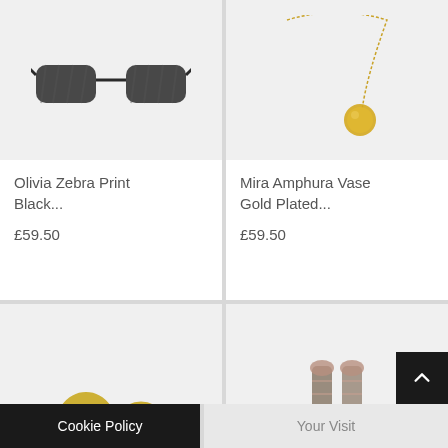[Figure (photo): Product image of Olivia Zebra Print Black sunglasses on light grey background, partially cropped at top]
Olivia Zebra Print Black...
£59.50
[Figure (photo): Product image of Mira Amphura Vase Gold Plated necklace with gold chain and pendant on light grey background, partially cropped at top]
Mira Amphura Vase Gold Plated...
£59.50
[Figure (photo): Partial product image of gold ring/cuff jewellery on light grey background]
[Figure (photo): Partial product image of a patterned fabric scarf/strap in green and pink tones on light grey background]
Cookie Policy
Your Visit